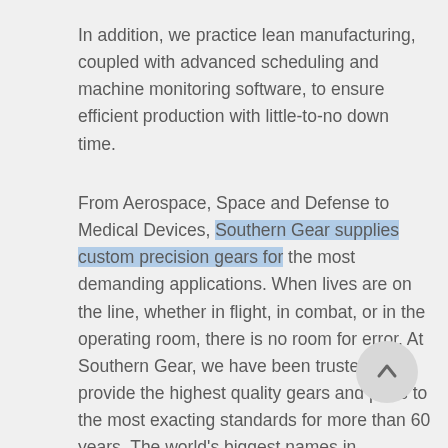In addition, we practice lean manufacturing, coupled with advanced scheduling and machine monitoring software, to ensure efficient production with little-to-no down time.
From Aerospace, Space and Defense to Medical Devices, Southern Gear supplies custom precision gears for the most demanding applications. When lives are on the line, whether in flight, in combat, or in the operating room, there is no room for error. At Southern Gear, we have been trusted to provide the highest quality gears and parts to the most exacting standards for more than 60 years. The world's biggest names in aerospace and defense trust Southern Gear